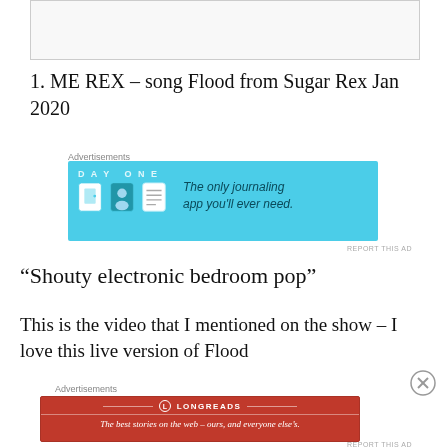[Figure (other): Top image placeholder box, partially visible at top of page]
1. ME REX – song Flood from Sugar Rex Jan 2020
Advertisements
[Figure (other): Day One journaling app advertisement – blue background with icons and text: 'The only journaling app you'll ever need.']
REPORT THIS AD
“Shouty electronic bedroom pop”
This is the video that I mentioned on the show – I love this live version of Flood
Advertisements
[Figure (other): Longreads advertisement – red background with Longreads logo and text: 'The best stories on the web – ours, and everyone else’s.']
REPORT THIS AD